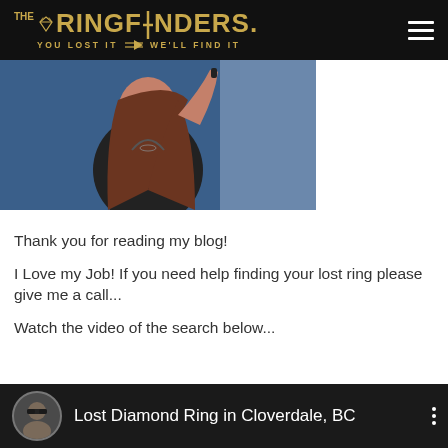THE RINGFINDERS. YOU LOST IT WE'LL FIND IT
[Figure (photo): Partial photo of a woman with long brown hair holding something up, blue background, cropped at top]
Thank you for reading my blog!
I Love my Job! If you need help finding your lost ring please give me a call...
Watch the video of the search below...
[Figure (screenshot): YouTube video thumbnail bar showing a circular avatar of a man with sunglasses, titled 'Lost Diamond Ring in Cloverdale, BC' with a three-dot menu icon, dark background]